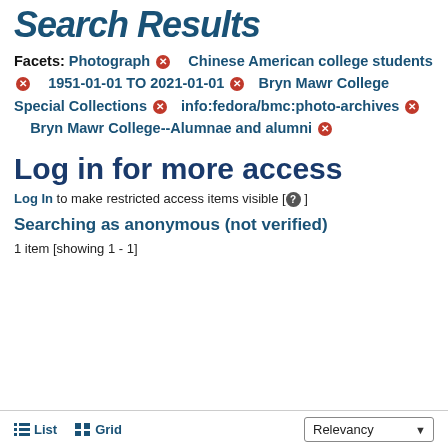Search Results
Facets: Photograph ✕  Chinese American college students ✕  1951-01-01 TO 2021-01-01 ✕  Bryn Mawr College Special Collections ✕  info:fedora/bmc:photo-archives ✕  Bryn Mawr College--Alumnae and alumni ✕
Log in for more access
Log In to make restricted access items visible [? ]
Searching as anonymous (not verified)
1 item [showing 1 - 1]
List  Grid  Relevancy